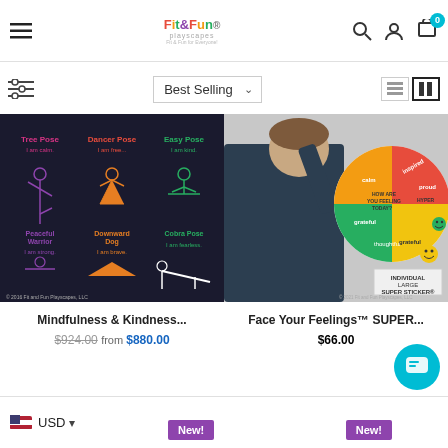Fit&Fun Playscapes navigation bar with logo, search, account, and cart icons
Best Selling (sort dropdown)
[Figure (photo): Dark background yoga poses chart showing Tree Pose (I am calm), Dancer Pose (I am free), Easy Pose (I am kind), Peaceful Warrior (I am strong), Downward Dog (I am brave), Cobra Pose (I am fearless)]
[Figure (photo): Child pointing at a colorful feelings wheel on a wall. The wheel shows emotions like inspired, proud, HYPER, calm, grateful, thoughtful, etc. Label reads INDIVIDUAL LARGE SUPER STICKER.]
Mindfulness & Kindness...
$924.00  from  $880.00
Face Your Feelings™ SUPER...
$66.00
USD  New!  New!